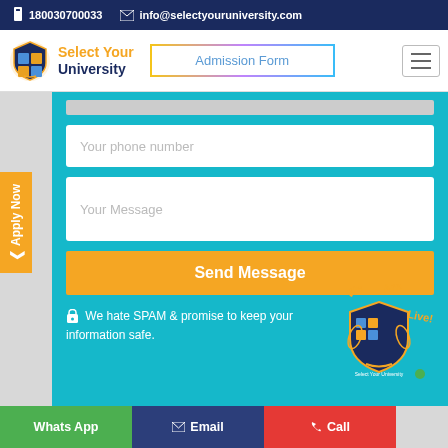180030700033   info@selectyouruniversity.com
[Figure (screenshot): Navigation bar with Select Your University logo, Admission Form button, and hamburger menu]
Your phone number
Your Message
Send Message
We hate SPAM & promise to keep your information safe.
[Figure (logo): Select Your University shield logo with We Are Live! watermark text]
Whats App   Email   Call